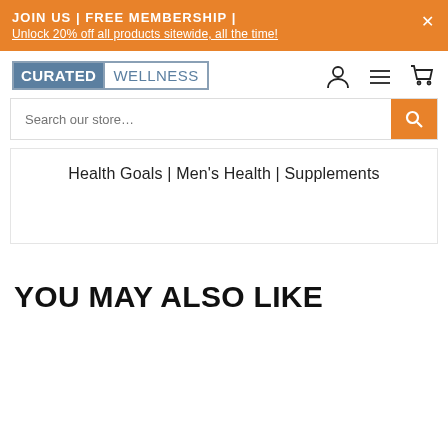JOIN US | FREE MEMBERSHIP | Unlock 20% off all products sitewide, all the time!
[Figure (logo): Curated Wellness logo - blue rectangular logo with 'CURATED' in white on blue background and 'WELLNESS' in blue text]
Health Goals | Men's Health | Supplements
YOU MAY ALSO LIKE